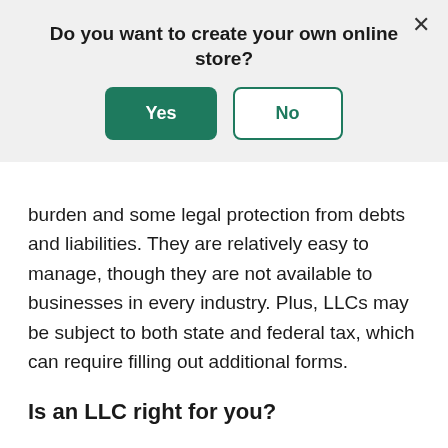Do you want to create your own online store?
burden and some legal protection from debts and liabilities. They are relatively easy to manage, though they are not available to businesses in every industry. Plus, LLCs may be subject to both state and federal tax, which can require filling out additional forms.
Is an LLC right for you?
An LLC may be a good choice for you if you are planning on starting a small to medium